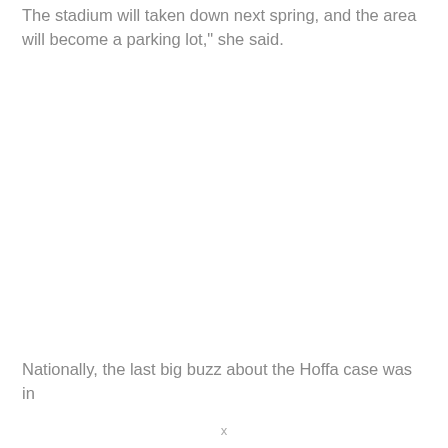The stadium will taken down next spring, and the area will become a parking lot," she said.
Nationally, the last big buzz about the Hoffa case was in
x